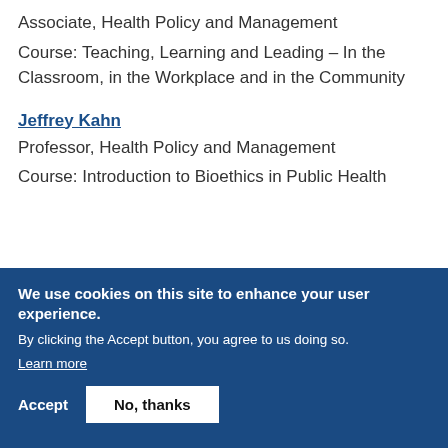Associate, Health Policy and Management
Course: Teaching, Learning and Leading – In the Classroom, in the Workplace and in the Community
Jeffrey Kahn
Professor, Health Policy and Management
Course: Introduction to Bioethics in Public Health
We use cookies on this site to enhance your user experience.
By clicking the Accept button, you agree to us doing so.
Learn more
Accept
No, thanks